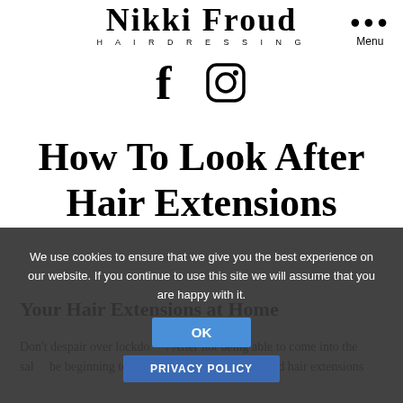Nikki Froud HAIRDRESSING
[Figure (logo): Facebook and Instagram social media icons]
How To Look After Hair Extensions
Your Hair Extensions at Home
Don't despair over lockdo... After not being able to come into the sal... be beginning to stress about your hair care and hair extensions
We use cookies to ensure that we give you the best experience on our website. If you continue to use this site we will assume that you are happy with it.